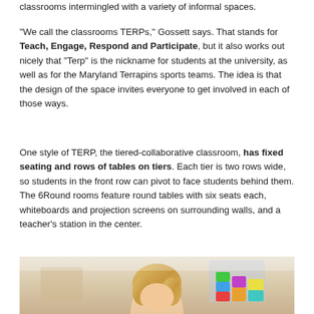classrooms intermingled with a variety of informal spaces.
"We call the classrooms TERPs," Gossett says. That stands for Teach, Engage, Respond and Participate, but it also works out nicely that "Terp" is the nickname for students at the university, as well as for the Maryland Terrapins sports teams. The idea is that the design of the space invites everyone to get involved in each of those ways.
One style of TERP, the tiered-collaborative classroom, has fixed seating and rows of tables on tiers. Each tier is two rows wide, so students in the front row can pivot to face students behind them. The 6Round rooms feature round tables with six seats each, whiteboards and projection screens on surrounding walls, and a teacher's station in the center.
[Figure (photo): A person with blonde hair holding or near colorful stacked blocks/books, in what appears to be a bright indoor educational setting.]